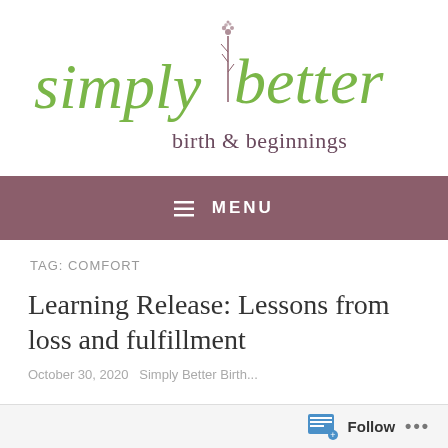[Figure (logo): Simply Better Birth & Beginnings logo — cursive green text 'simply better' with a botanical flower stem illustration in the center, subtitle 'birth & beginnings' in muted purple serif font]
≡ MENU
TAG: COMFORT
Learning Release: Lessons from loss and fulfillment
October 30, 2020  Simply Better Birth...